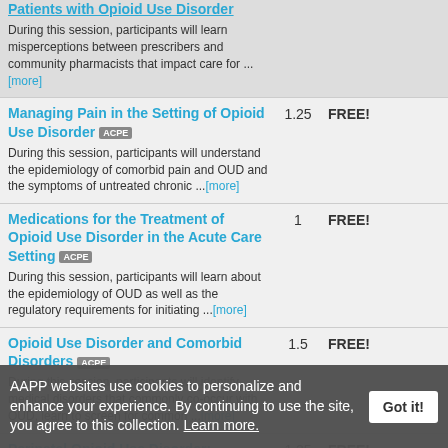Patients with Opioid Use Disorder — During this session, participants will learn misperceptions between prescribers and community pharmacists that impact care for ...[more]
Managing Pain in the Setting of Opioid Use Disorder [ACPE] 1.25 FREE! — During this session, participants will understand the epidemiology of comorbid pain and OUD and the symptoms of untreated chronic ...[more]
Medications for the Treatment of Opioid Use Disorder in the Acute Care Setting [ACPE] 1 FREE! — During this session, participants will learn about the epidemiology of OUD as well as the regulatory requirements for initiating ...[more]
Opioid Use Disorder and Comorbid Disorders [ACPE] 1.5 FREE! — During this session, participants will identify medical disorders that commonly co-occur with OUD, learn to screen for common ...[more]
Perinatal Opioid Use Disorder: Screening, Neonatal Abstinence Syndrome, and Lactation [ACPE] 1.25 FREE! — During this session, participants will identify screening tools to evaluate OUD in pregnant and/or lactating people, discuss ...[more]
Pharmacists on the Front Lines in Naloxone 1.25 FREE!
AAPP websites use cookies to personalize and enhance your experience. By continuing to use the site, you agree to this collection. Learn more.